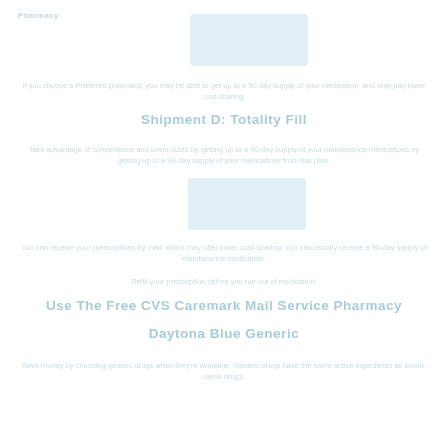Pharmacy
[Figure (illustration): Illustration of prescription/pharmacy related imagery, light blue toned]
If you choose a Preferred pharmacy, you may be able to get up to a 90-day supply of your medication, and may pay lower cost-sharing.
Shipment D: Totality Fill
Take advantage of convenience and lower costs by getting up to a 90-day supply of your maintenance medications by
[Figure (illustration): Illustration of mail/delivery related imagery, light blue toned]
You can receive your prescriptions by mail, which may offer lower cost-sharing. You can usually receive a 90-day supply of maintenance medication.
Refill your prescription before you run out of medication.
Use The Free CVS Caremark Mail Service Pharmacy
Daytona Blue Generic
Save money by choosing generic drugs when they're available. Generic drugs have the same active ingredients as brand-name drugs.